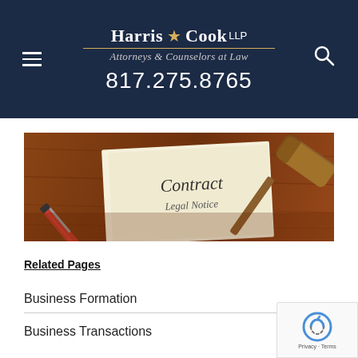Harris Cook LLP — Attorneys & Counselors at Law — 817.275.8765
[Figure (photo): Photo of a legal contract document with 'Contract' and 'Legal Notice' text, a red pen, and a wooden gavel on a wooden surface]
Related Pages
Business Formation
Business Transactions